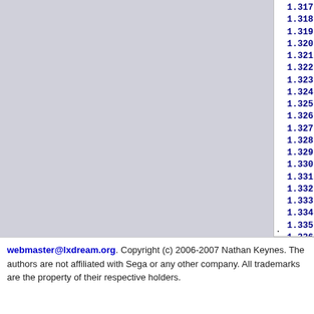[Figure (screenshot): Code diff panel showing shell script lines 1.317 to 1.339, with line numbers in dark blue/bold and code content in green monospace font on white background]
.
webmaster@lxdream.org. Copyright (c) 2006-2007 Nathan Keynes. The authors are not affiliated with Sega or any other company. All trademarks are the property of their respective holders.